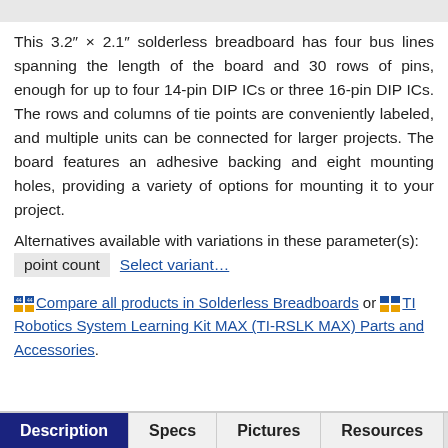[Figure (other): Gray top bar / header region]
This 3.2″ × 2.1″ solderless breadboard has four bus lines spanning the length of the board and 30 rows of pins, enough for up to four 14-pin DIP ICs or three 16-pin DIP ICs. The rows and columns of tie points are conveniently labeled, and multiple units can be connected for larger projects. The board features an adhesive backing and eight mounting holes, providing a variety of options for mounting it to your project.
Alternatives available with variations in these parameter(s):
point count   Select variant…
Compare all products in Solderless Breadboards or TI Robotics System Learning Kit MAX (TI-RSLK MAX) Parts and Accessories.
Description  Specs  Pictures  Resources  FAQs